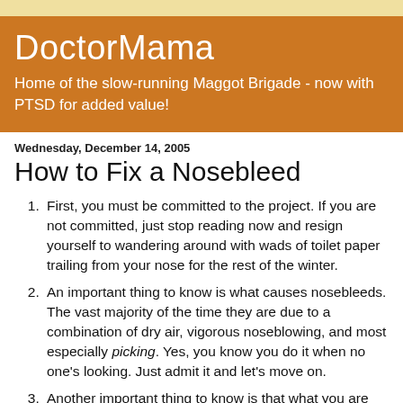DoctorMama
Home of the slow-running Maggot Brigade - now with PTSD for added value!
Wednesday, December 14, 2005
How to Fix a Nosebleed
First, you must be committed to the project. If you are not committed, just stop reading now and resign yourself to wandering around with wads of toilet paper trailing from your nose for the rest of the winter.
An important thing to know is what causes nosebleeds. The vast majority of the time they are due to a combination of dry air, vigorous noseblowing, and most especially picking. Yes, you know you do it when no one's looking. Just admit it and let's move on.
Another important thing to know is that what you are looking to do is create a blood clot in your nose, and